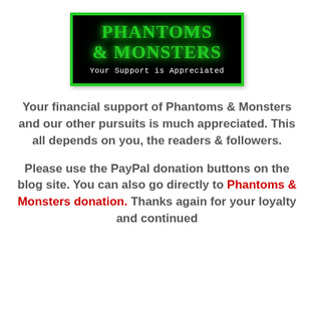[Figure (logo): Phantoms & Monsters logo: black background with green border, green glowing text 'PHANTOMS & MONSTERS', white subtitle 'Your Support is Appreciated']
Your financial support of Phantoms & Monsters and our other pursuits is much appreciated. This all depends on you, the readers & followers.
Please use the PayPal donation buttons on the blog site. You can also go directly to Phantoms & Monsters donation. Thanks again for your loyalty and continued